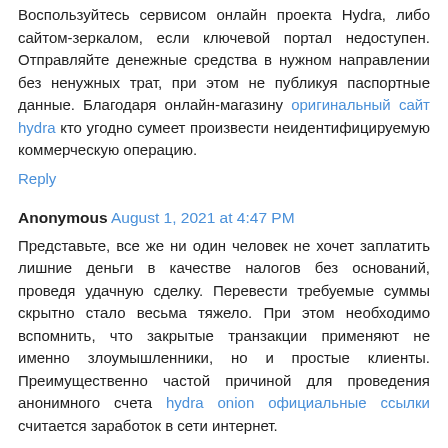Воспользуйтесь сервисом онлайн проекта Hydra, либо сайтом-зеркалом, если ключевой портал недоступен. Отправляйте денежные средства в нужном направлении без ненужных трат, при этом не публикуя паспортные данные. Благодаря онлайн-магазину оригинальный сайт hydra кто угодно сумеет произвести неидентифицируемую коммерческую операцию.
Reply
Anonymous August 1, 2021 at 4:47 PM
Представьте, все же ни один человек не хочет заплатить лишние деньги в качестве налогов без оснований, проведя удачную сделку. Перевести требуемые суммы скрытно стало весьма тяжело. При этом необходимо вспомнить, что закрытые транзакции применяют не именно злоумышленники, но и простые клиенты. Преимущественно частой причиной для проведения анонимного счета hydra onion официальные ссылки считается заработок в сети интернет.